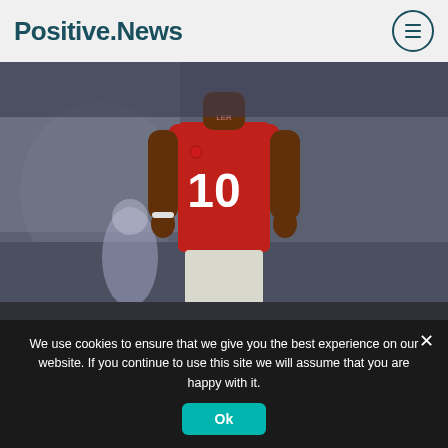Positive.News
[Figure (photo): A footballer wearing a red jersey with number 10 on the back, photographed from behind, with another player blurred in the background.]
Moving the goalposts: the footballers using their influence for good
Lifestyle / Positive People / Society / Sport
We use cookies to ensure that we give you the best experience on our website. If you continue to use this site we will assume that you are happy with it.